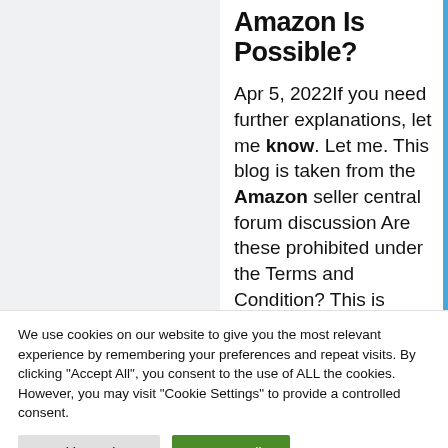Amazon Is Possible?
Apr 5, 2022If you need further explanations, let me know. Let me. This blog is taken from the Amazon seller central forum discussion Are these prohibited under the Terms and Condition? This is something I have not been able find any information on. … Is Dropshipping From Amazon to
We use cookies on our website to give you the most relevant experience by remembering your preferences and repeat visits. By clicking "Accept All", you consent to the use of ALL the cookies. However, you may visit "Cookie Settings" to provide a controlled consent.